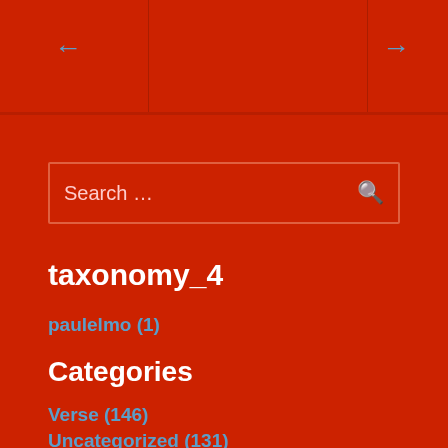← →
Search …
taxonomy_4
paulelmo (1)
Categories
Verse (146)
Uncategorized (131)
Philosophy (110)
Music (96)
Words and posts (81)